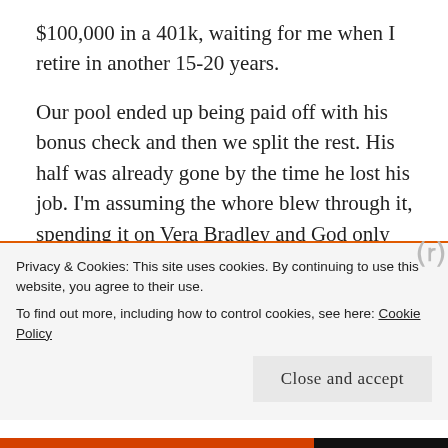$100,000 in a 401k, waiting for me when I retire in another 15-20 years.
Our pool ended up being paid off with his bonus check and then we split the rest. His half was already gone by the time he lost his job. I'm assuming the whore blew through it, spending it on Vera Bradley and God only knows what else. I know they got to take a vacation to Florida over Spring Break. I got to use my share to live on when he lost his job and decided he wasn't going to send another dime until he finally got a job worthy of him.
Privacy & Cookies: This site uses cookies. By continuing to use this website, you agree to their use.
To find out more, including how to control cookies, see here: Cookie Policy
Close and accept